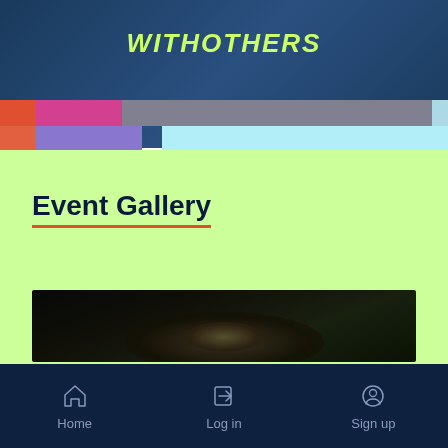WITHOTHERS
[Figure (photo): Dark blue banner background with colorful horizontal color bars (red, pink, purple, cyan) and a partial view of a person's head/hair at the top section]
Event Gallery
[Figure (photo): Dark photo strip showing a person with braided hair against a dark background, partially visible]
Home   Log in   Sign up